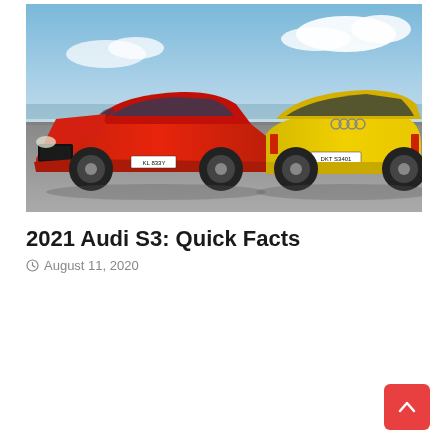[Figure (photo): Two Audi S3 cars photographed outdoors near water with cloudy sky. A red Audi S3 sedan faces forward on the left, and a yellow Audi S3 hatchback is shown from the rear on the right.]
2021 Audi S3: Quick Facts
August 11, 2020